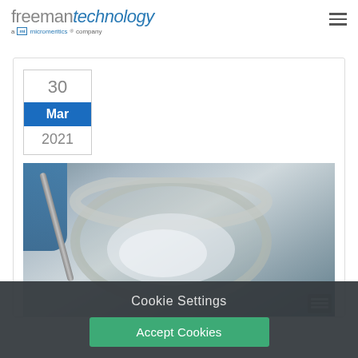[Figure (logo): Freeman Technology logo - 'freeman' in grey, 'technology' in blue italic, with 'a micromeritics company' subtitle]
[Figure (photo): Close-up photo of a gloved hand holding a spatula/tool over a foil weighing dish containing white powder]
30
Mar
2021
Cookie Settings
Accept Cookies